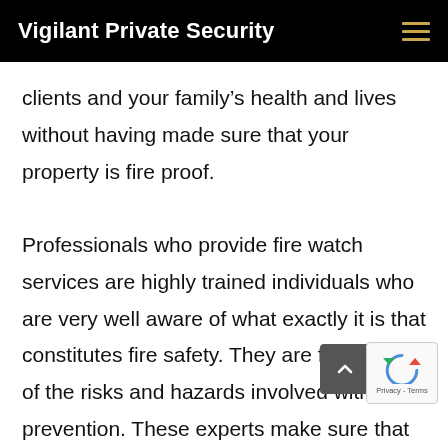Vigilant Private Security
clients and your family’s health and lives without having made sure that your property is fire proof.

Professionals who provide fire watch services are highly trained individuals who are very well aware of what exactly it is that constitutes fire safety. They are fully aware of the risks and hazards involved with fire prevention. These experts make sure that your business, your building, your home and your family are protected from any harm. In fact they go out of their way to ensure that a fire does not sneak